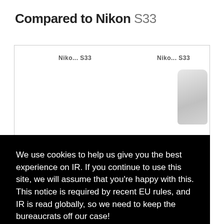Compared to Nikon S33
[Figure (screenshot): Side-by-side camera comparison UI showing Nikon S33 labels and a camera image on the right, partially visible. A dotted line and BATTERY LIFE label are visible at the bottom.]
We use cookies to help us give you the best experience on IR. If you continue to use this site, we will assume that you're happy with this. This notice is required by recent EU rules, and IR is read globally, so we need to keep the bureaucrats off our case!
Learn more
Got it!